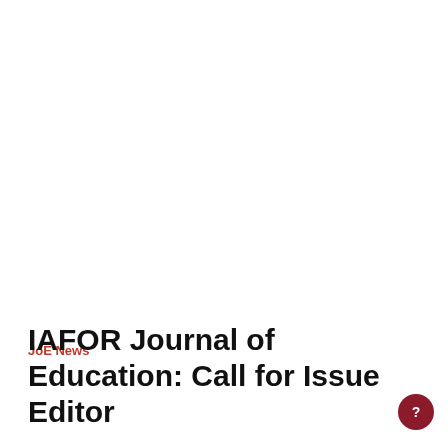JoE News
IAFOR Journal of Education: Call for Issue Editor